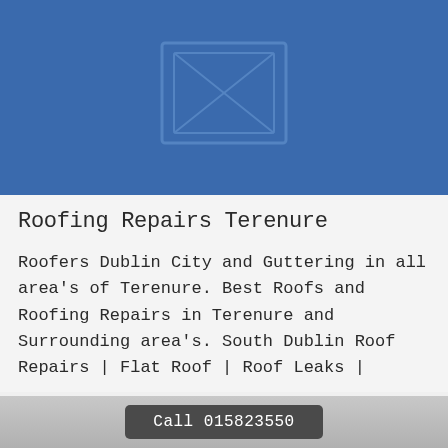[Figure (illustration): Blue placeholder image with a broken image icon outline in the center]
Roofing Repairs Terenure
Roofers Dublin City and Guttering in all area's of Terenure. Best Roofs and Roofing Repairs in Terenure and Surrounding area's. South Dublin Roof Repairs | Flat Roof | Roof Leaks |
Call 015823550